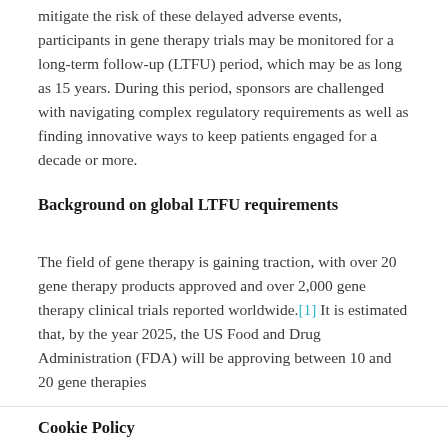mitigate the risk of these delayed adverse events, participants in gene therapy trials may be monitored for a long-term follow-up (LTFU) period, which may be as long as 15 years. During this period, sponsors are challenged with navigating complex regulatory requirements as well as finding innovative ways to keep patients engaged for a decade or more.
Background on global LTFU requirements
The field of gene therapy is gaining traction, with over 20 gene therapy products approved and over 2,000 gene therapy clinical trials reported worldwide.[1] It is estimated that, by the year 2025, the US Food and Drug Administration (FDA) will be approving between 10 and 20 gene therapies
Cookie Policy